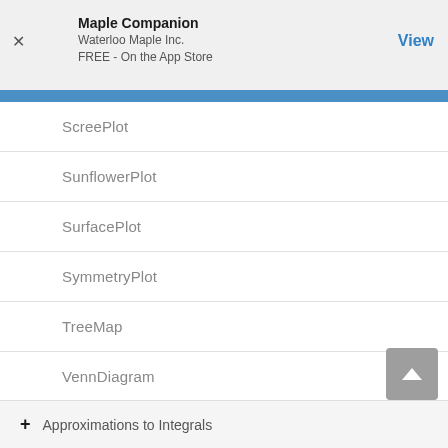Maple Companion
Waterloo Maple Inc.
FREE - On the App Store
ScreePlot
SunflowerPlot
SurfacePlot
SymmetryPlot
TreeMap
VennDiagram
ViolinPlot
WeibullPlot
+ Approximations to Integrals